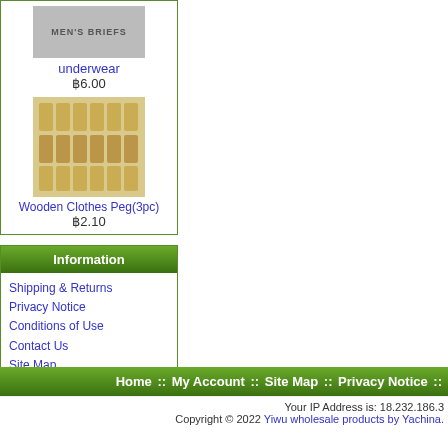[Figure (photo): Product image of men's briefs underwear]
underwear
฿6.00
[Figure (photo): Product image of wooden clothes pegs]
Wooden Clothes Peg(3pc)
฿2.10
Information
Shipping & Returns
Privacy Notice
Conditions of Use
Contact Us
Site Map
Gift Certificate FAQ
Discount Coupons
Newsletter Unsubscribe
More Information
Page 2
Page 3
Page 4
Home :: My Account :: Site Map :: Privacy Notice ::
Your IP Address is: 18.232.186.3
Copyright © 2022 Yiwu wholesale products by Yachina.